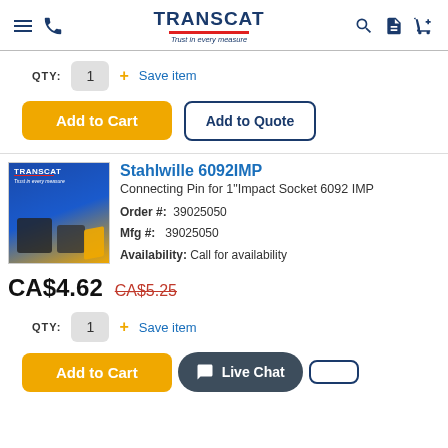TRANSCAT - Trust in every measure
QTY: 1 + Save item
Add to Cart | Add to Quote
[Figure (photo): Transcat product box image]
Stahlwille 6092IMP
Connecting Pin for 1"Impact Socket 6092 IMP
Order #: 39025050
Mfg #: 39025050
Availability: Call for availability
CA$4.62  CA$5.25
QTY: 1 + Save item
Add to Cart | Live Chat